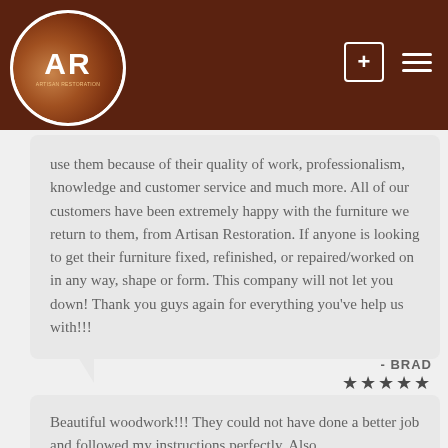[Figure (logo): Artisan Restoration circular logo with AR letters on brown/wood-grain background, white circle border]
use them because of their quality of work, professionalism, knowledge and customer service and much more. All of our customers have been extremely happy with the furniture we return to them, from Artisan Restoration. If anyone is looking to get their furniture fixed, refinished, or repaired/worked on in any way, shape or form. This company will not let you down! Thank you guys again for everything you've help us with!!!
- BRAD ★★★★★
Beautiful woodwork!!! They could not have done a better job and followed my instructions perfectly. Also